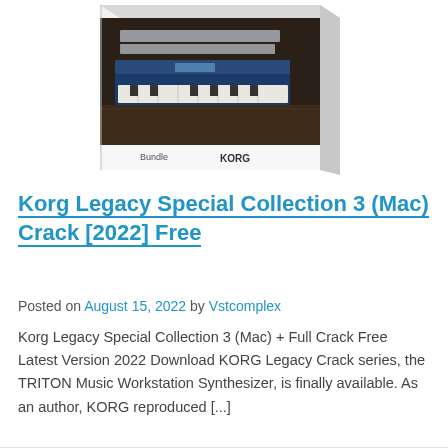[Figure (photo): Product box image of KORG Legacy Special Collection Bundle, showing synthesizer keyboards in a studio setting on the box art, with 'Bundle' text and KORG logo visible]
Korg Legacy Special Collection 3 (Mac) Crack [2022] Free
Posted on August 15, 2022 by Vstcomplex
Korg Legacy Special Collection 3 (Mac) + Full Crack Free Latest Version 2022 Download KORG Legacy Crack series, the TRITON Music Workstation Synthesizer, is finally available. As an author, KORG reproduced [...]
READ MORE